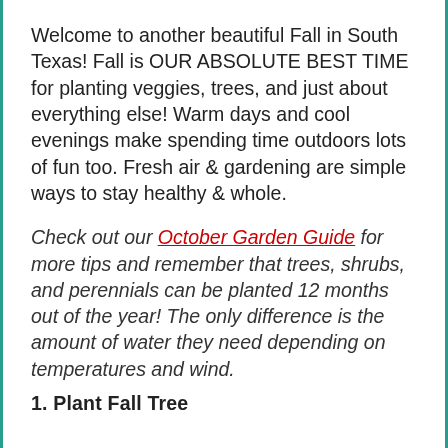Welcome to another beautiful Fall in South Texas! Fall is OUR ABSOLUTE BEST TIME for planting veggies, trees, and just about everything else! Warm days and cool evenings make spending time outdoors lots of fun too. Fresh air & gardening are simple ways to stay healthy & whole.
Check out our October Garden Guide for more tips and remember that trees, shrubs, and perennials can be planted 12 months out of the year! The only difference is the amount of water they need depending on temperatures and wind.
1. Plant Fall Trees